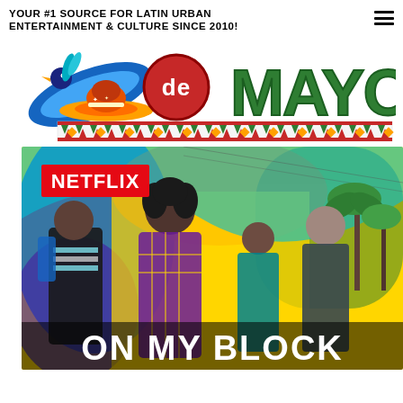YOUR #1 SOURCE FOR LATIN URBAN ENTERTAINMENT & CULTURE SINCE 2010!
[Figure (logo): 5 de Mayo logo with colorful sombrero and bird graphic, red circle with 'de', green letters 'MAYO', decorative aztec border pattern]
[Figure (photo): Netflix promotional image for 'On My Block' showing four teenage cast members standing against a yellow and colorful urban background with palm trees. Text shows NETFLIX in red and ON MY BLOCK in white bold letters at the bottom.]